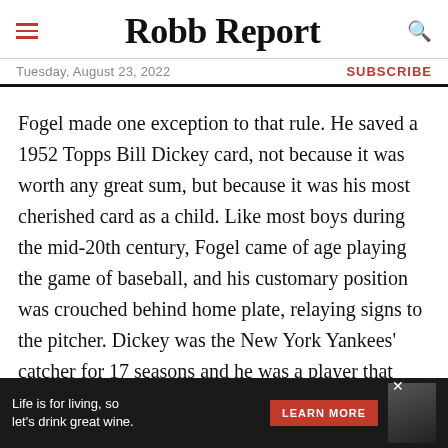Robb Report
Tuesday, August 23, 2022 | SUBSCRIBE
Fogel made one exception to that rule. He saved a 1952 Topps Bill Dickey card, not because it was worth any great sum, but because it was his most cherished card as a child. Like most boys during the mid-20th century, Fogel came of age playing the game of baseball, and his customary position was crouched behind home plate, relaying signs to the pitcher. Dickey was the New York Yankees' catcher for 17 seasons and he was a player that Fogel emulated. Fogel recalls trading for the card as a child and he proudly displays it today.
[Figure (other): Advertisement banner: 'Life is for living, so let's drink great wine.' with a LEARN MORE button and wine bottle imagery]